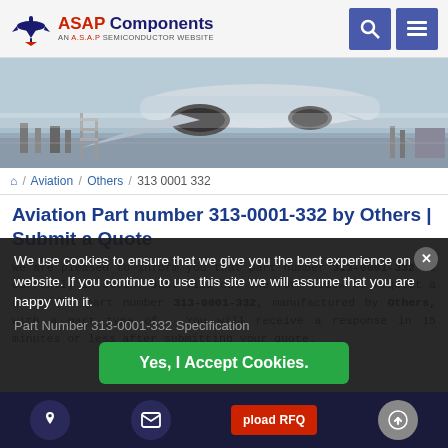[Figure (logo): ASAP Components logo with airplane silhouette and tagline AN A.S.A.P SEMICONDUCTOR WEBSITE]
[Figure (photo): Wide hero photo of aircraft on tarmac with jet engines visible, taken from ground level]
🏠 / Aviation / Others / 313 0001 332
Aviation Part number 313-0001-332 by Others | Submit a Quote
We are pleased to inform you that part number 313-0001-332 is currently in stock. Just fill out the form below to request a quote for part number 313-0001-332, manufactured by Others, with a part type of . You will receive a response in 15 minutes or less after submitting your quote.
We use cookies to ensure that we give you the best experience on our website. If you continue to use this site we will assume that you are happy with it.
Part Number 313-0001-332 Specification
Yes, I Accept Cookies.